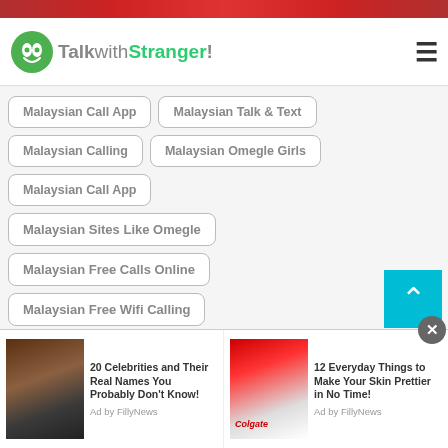TalkwithStranger!
Malaysian Call App
Malaysian Talk & Text
Malaysian Calling
Malaysian Omegle Girls
Malaysian Call App
Malaysian Sites Like Omegle
Malaysian Free Calls Online
Malaysian Free Wifi Calling
Malaysian Text & Call
Malaysian Omegle Chat
20 Celebrities and Their Real Names You Probably Don't Know! Ad by FillyNews
12 Everyday Things to Make Your Skin Prettier in No Time! Ad by FillyNews